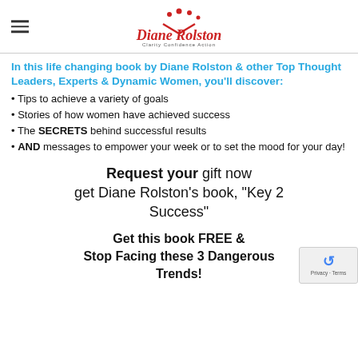Diane Rolston - Clarity Confidence Action
In this life changing book by Diane Rolston & other Top Thought Leaders, Experts & Dynamic Women, you'll discover:
Tips to achieve a variety of goals
Stories of how women have achieved success
The SECRETS behind successful results
AND messages to empower your week or to set the mood for your day!
Request your gift now get Diane Rolston's book, "Key 2 Success"
Get this book FREE & Stop Facing these 3 Dangerous Trends!